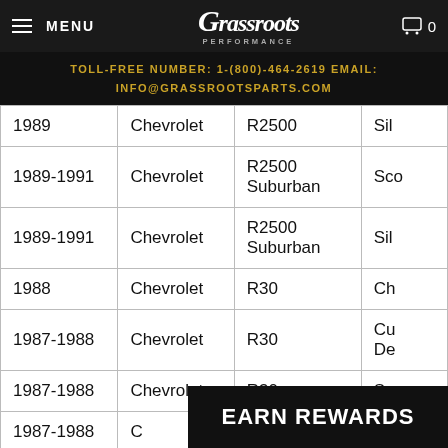MENU | Grassroots Performance | 0
TOLL-FREE NUMBER: 1-(800)-464-2619 EMAIL: INFO@GRASSROOTSPARTS.COM
| Year | Make | Model | Trim |
| --- | --- | --- | --- |
| 1989 | Chevrolet | R2500 | Sil… |
| 1989-1991 | Chevrolet | R2500 Suburban | Sco… |
| 1989-1991 | Chevrolet | R2500 Suburban | Sil… |
| 1988 | Chevrolet | R30 | Ch… |
| 1987-1988 | Chevrolet | R30 | Cu… De… |
| 1987-1988 | Chevrolet | R30 | Sco… |
| 1987-1988 | C… |  |  |
| 1989-1991 | C… |  |  |
EARN REWARDS